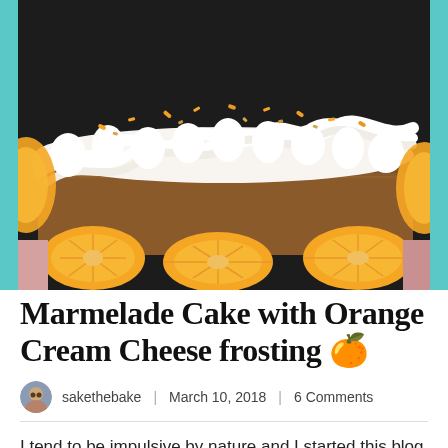[Figure (photo): Close-up photograph of a marmelade cake decorated with swirled white cream cheese frosting topped with orange zest and chopped nuts, surrounded by sliced orange rounds, against a dark background, with teal borders on left and right sides.]
Marmelade Cake with Orange Cream Cheese frosting 🍊
sakethebake | March 10, 2018 | 6 Comments
I tend to be impulsive by nature and I started this blog literally overnight.